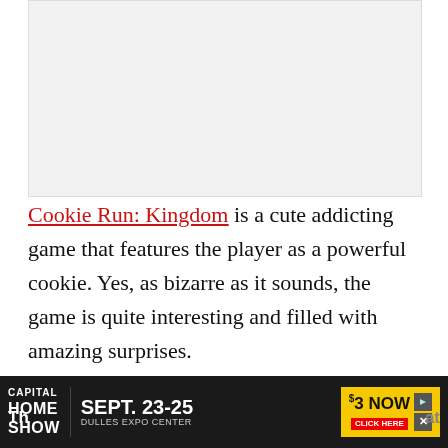[Figure (other): Placeholder image area, light gray background]
Cookie Run: Kingdom is a cute addicting game that features the player as a powerful cookie. Yes, as bizarre as it sounds, the game is quite interesting and filled with amazing surprises.
[Figure (other): Advertisement banner: Capital Home Show, Sept. 23-25, Dulles Expo Center, Save $3 Now, Click Here]
Th...at